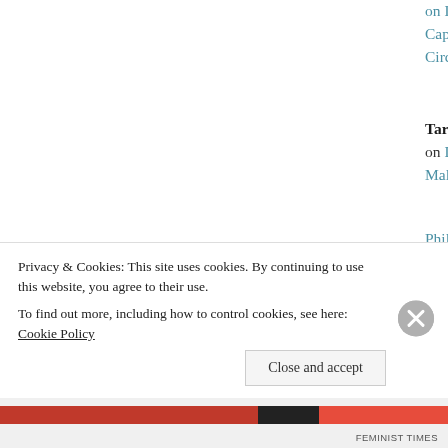on Logistic Capitalist Circulat...
Tara Lawre on Dear Hu Male Egos
Philosemite Jew;... on Imagining A Feminism - I
News on Fe Fatigues; O Ca...
Feminism - Olusolaco...
Feminist Fat...
Privacy & Cookies: This site uses cookies. By continuing to use this website, you agree to their use.
To find out more, including how to control cookies, see here: Cookie Policy
FEMINIST TIMES